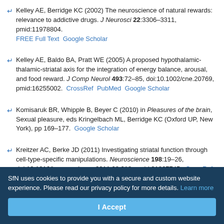Kelley AE, Berridge KC (2002) The neuroscience of natural rewards: relevance to addictive drugs. J Neurosci 22:3306–3311, pmid:11978804. FREE Full Text   Google Scholar
Kelley AE, Baldo BA, Pratt WE (2005) A proposed hypothalamic-thalamic-striatal axis for the integration of energy balance, arousal, and food reward. J Comp Neurol 493:72–85, doi:10.1002/cne.20769, pmid:16255002. CrossRef PubMed Google Scholar
Komisaruk BR, Whipple B, Beyer C (2010) in Pleasures of the brain, Sexual pleasure, eds Kringelbach ML, Berridge KC (Oxford UP, New York), pp 169–177. Google Scholar
Kreitzer AC, Berke JD (2011) Investigating striatal function through cell-type-specific manipulations. Neuroscience 198:19–26, doi:10.1016/j.neuroscience.2011.08.018, pmid:21867745. CrossRef
SfN uses cookies to provide you with a secure and custom website experience. Please read our privacy policy for more details. Learn more